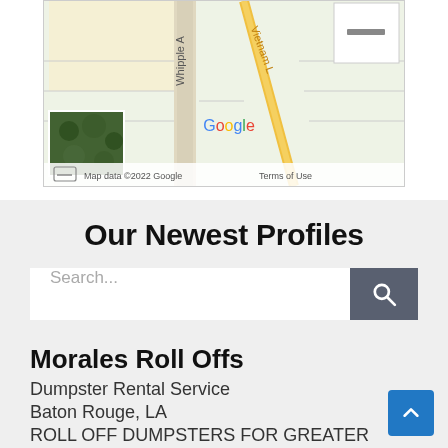[Figure (map): Google Maps screenshot showing an area with Whipple Ave, Vietnam Lane, a satellite imagery thumbnail in the bottom left. Map data ©2022 Google. Terms of Use shown.]
Our Newest Profiles
Search...
Morales Roll Offs
Dumpster Rental Service
Baton Rouge, LA
ROLL OFF DUMPSTERS FOR GREATER